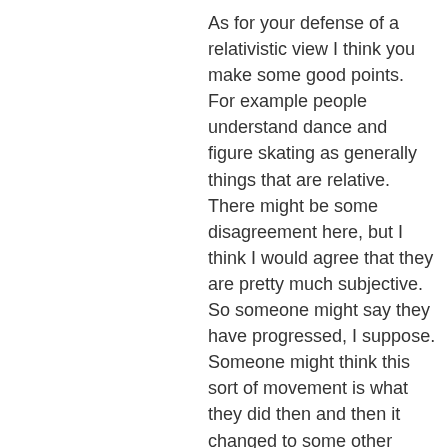As for your defense of a relativistic view I think you make some good points. For example people understand dance and figure skating as generally things that are relative. There might be some disagreement here, but I think I would agree that they are pretty much subjective. So someone might say they have progressed, I suppose. Someone might think this sort of movement is what they did then and then it changed to some other thing and they call that progress. I really don't know for sure how such decisions are made. But sure falling down on the ice and doing the but Zamboni does not make a “good” routine.
Art can progress as well but often that might have to do with how much it reflects reality. Not necessarily in a literally realist painting sort of way. Abstract and impressionist can reflect reality in a way as